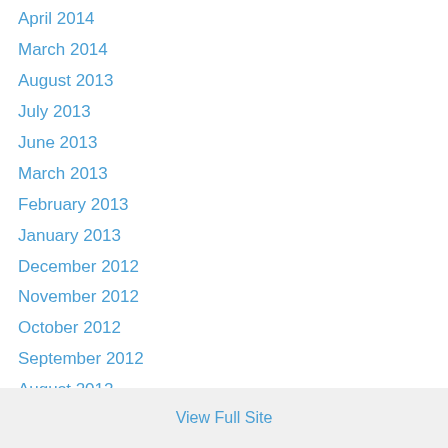April 2014
March 2014
August 2013
July 2013
June 2013
March 2013
February 2013
January 2013
December 2012
November 2012
October 2012
September 2012
August 2012
July 2012
June 2012
May 2012
View Full Site